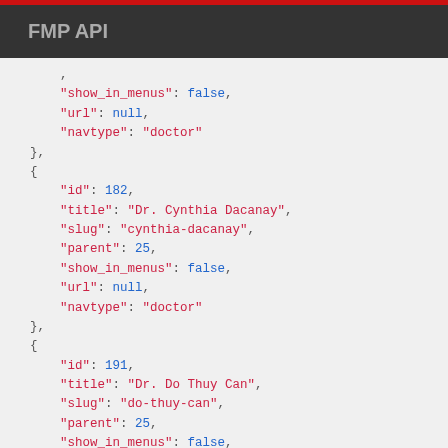FMP API
JSON API response code snippet showing navigation items with fields: show_in_menus, url, navtype, id, title, slug, parent for entries id=182 (Dr. Cynthia Dacanay) and id=191 (Dr. Do Thuy Can)